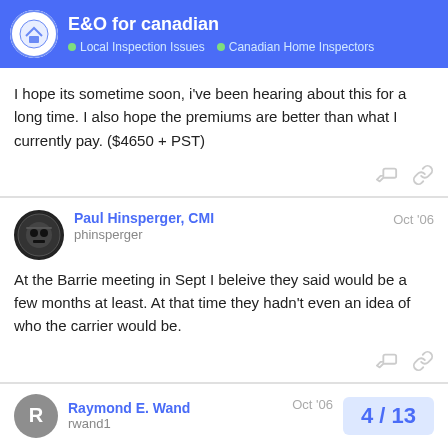E&O for canadian | Local Inspection Issues | Canadian Home Inspectors
I hope its sometime soon, i've been hearing about this for a long time. I also hope the premiums are better than what I currently pay. ($4650 + PST)
Paul Hinsperger, CMI phinsperger Oct '06
At the Barrie meeting in Sept I beleive they said would be a few months at least. At that time they hadn't even an idea of who the carrier would be.
Raymond E. Wand rwand1 Oct '06
4 / 13